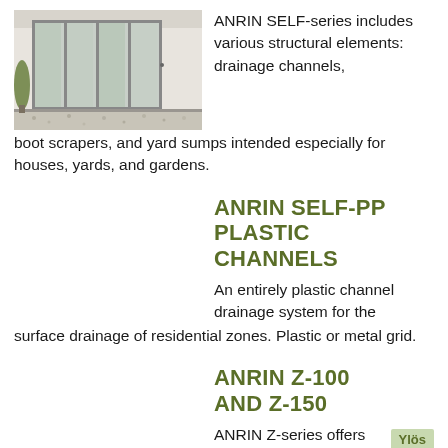[Figure (photo): Photo of a modern house entrance with large glass folding doors, gravel driveway and drainage channel visible.]
ANRIN SELF-series includes various structural elements: drainage channels, boot scrapers, and yard sumps intended especially for houses, yards, and gardens.
ANRIN SELF-PP PLASTIC CHANNELS
An entirely plastic channel drainage system for the surface drainage of residential zones. Plastic or metal grid.
ANRIN Z-100 AND Z-150
ANRIN Z-series offers